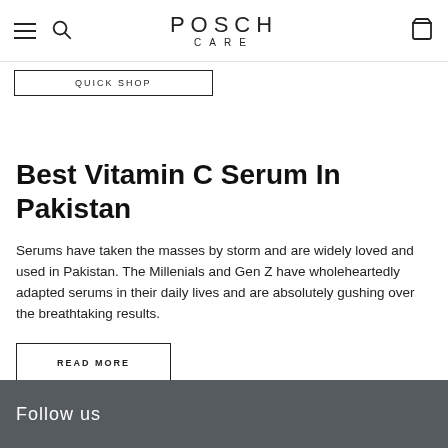POSCH CARE
QUICK SHOP
Best Vitamin C Serum In Pakistan
Serums have taken the masses by storm and are widely loved and used in Pakistan. The Millenials and Gen Z have wholeheartedly adapted serums in their daily lives and are absolutely gushing over the breathtaking results.
READ MORE
Follow us